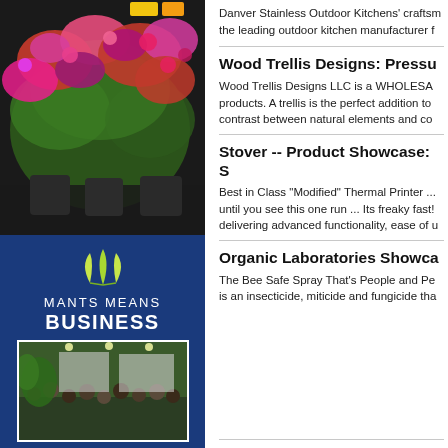[Figure (photo): Colorful hanging flower baskets with pink, red and purple blooms in a greenhouse or market setting]
[Figure (illustration): MANTS Means Business banner with green leaf logo on dark blue background, with a small photo of a trade show crowd at the bottom]
Danver Stainless Outdoor Kitchens' craftsm the leading outdoor kitchen manufacturer f
Wood Trellis Designs: Pressu
Wood Trellis Designs LLC is a WHOLESA products. A trellis is the perfect addition to contrast between natural elements and co
Stover -- Product Showcase: S
Best in Class "Modified" Thermal Printer ... until you see this one run ... Its freaky fast! delivering advanced functionality, ease of u
Organic Laboratories Showca
The Bee Safe Spray That's People and Pe is an insecticide, miticide and fungicide tha